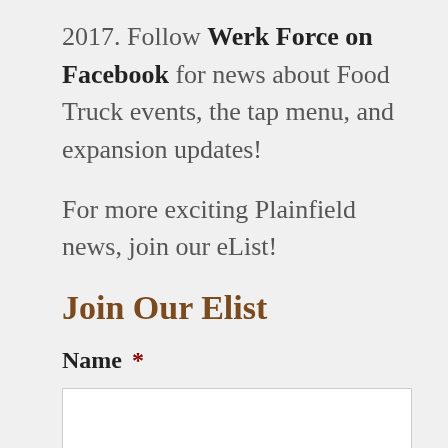2017. Follow Werk Force on Facebook for news about Food Truck events, the tap menu, and expansion updates!
For more exciting Plainfield news, join our eList!
Join Our Elist
Name *
[Figure (other): Text input field (First name)]